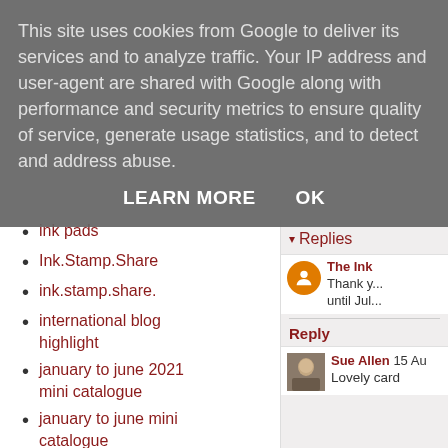This site uses cookies from Google to deliver its services and to analyze traffic. Your IP address and user-agent are shared with Google along with performance and security metrics to ensure quality of service, generate usage statistics, and to detect and address abuse.
LEARN MORE   OK
ink pads
Ink.Stamp.Share
ink.stamp.share.
international blog highlight
january to june 2021 mini catalogue
january to june mini catalogue
just jade
juvenile huntingtons
▾ Replies
The Ink... Thank y... until Jul...
Reply
Sue Allen  15 Au... Lovely card